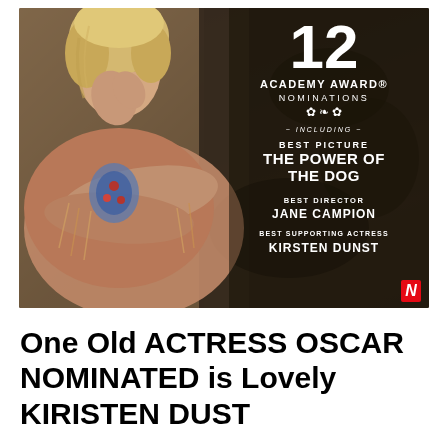[Figure (photo): Promotional image for 'The Power of the Dog' Netflix film. A blonde woman in a tan/rose-colored fringed shawl with beaded decoration holds her hand near her face, looking downward. White text overlay on dark right side reads: '12 ACADEMY AWARD NOMINATIONS INCLUDING BEST PICTURE THE POWER OF THE DOG BEST DIRECTOR JANE CAMPION BEST SUPPORTING ACTRESS KIRSTEN DUNST'. Netflix logo in bottom right corner.]
One Old ACTRESS OSCAR NOMINATED is Lovely KIRISTEN DUST